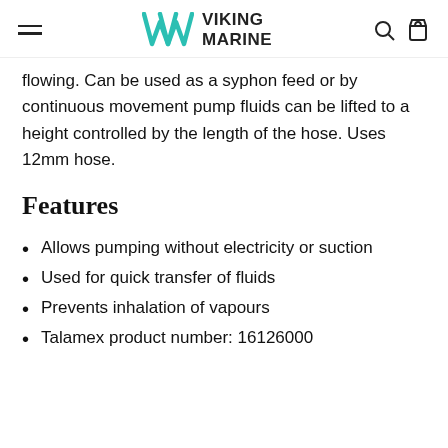Viking Marine
flowing. Can be used as a syphon feed or by continuous movement pump fluids can be lifted to a height controlled by the length of the hose. Uses 12mm hose.
Features
Allows pumping without electricity or suction
Used for quick transfer of fluids
Prevents inhalation of vapours
Talamex product number: 16126000